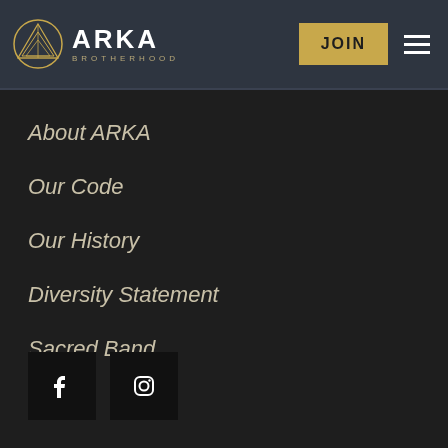ARKA BROTHERHOOD — JOIN
About ARKA
Our Code
Our History
Diversity Statement
Sacred Band
[Figure (logo): Facebook and Instagram social media icons (black square buttons)]